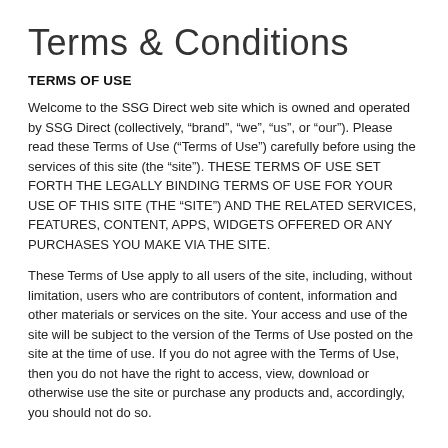Terms & Conditions
TERMS OF USE
Welcome to the SSG Direct web site which is owned and operated by SSG Direct (collectively, “brand”, “we”, “us”, or “our”). Please read these Terms of Use (“Terms of Use”) carefully before using the services of this site (the “site”). THESE TERMS OF USE SET FORTH THE LEGALLY BINDING TERMS OF USE FOR YOUR USE OF THIS SITE (THE “SITE”) AND THE RELATED SERVICES, FEATURES, CONTENT, APPS, WIDGETS OFFERED OR ANY PURCHASES YOU MAKE VIA THE SITE.
These Terms of Use apply to all users of the site, including, without limitation, users who are contributors of content, information and other materials or services on the site. Your access and use of the site will be subject to the version of the Terms of Use posted on the site at the time of use. If you do not agree with the Terms of Use, then you do not have the right to access, view, download or otherwise use the site or purchase any products and, accordingly, you should not do so.